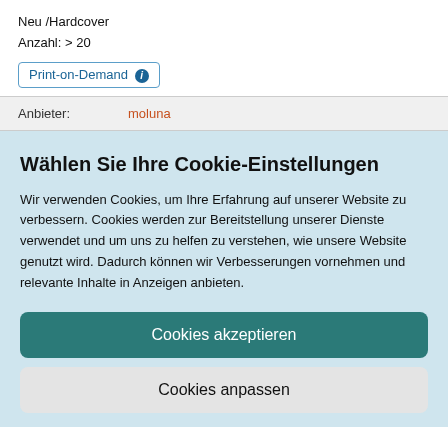Neu /Hardcover
Anzahl: > 20
Print-on-Demand i
Anbieter: moluna
Wählen Sie Ihre Cookie-Einstellungen
Wir verwenden Cookies, um Ihre Erfahrung auf unserer Website zu verbessern. Cookies werden zur Bereitstellung unserer Dienste verwendet und um uns zu helfen zu verstehen, wie unsere Website genutzt wird. Dadurch können wir Verbesserungen vornehmen und relevante Inhalte in Anzeigen anbieten.
Cookies akzeptieren
Cookies anpassen